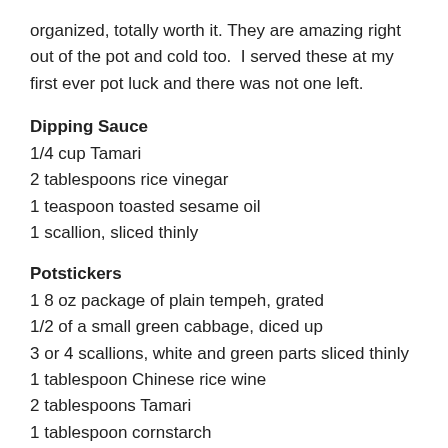organized, totally worth it. They are amazing right out of the pot and cold too.  I served these at my first ever pot luck and there was not one left.
Dipping Sauce
1/4 cup Tamari
2 tablespoons rice vinegar
1 teaspoon toasted sesame oil
1 scallion, sliced thinly
Potstickers
1 8 oz package of plain tempeh, grated
1/2 of a small green cabbage, diced up
3 or 4 scallions, white and green parts sliced thinly
1 tablespoon Chinese rice wine
2 tablespoons Tamari
1 tablespoon cornstarch
1 package of round vegan won ton or dumpling wrappers (I have to get these in a kosher supermarket. Most wrappers have egg